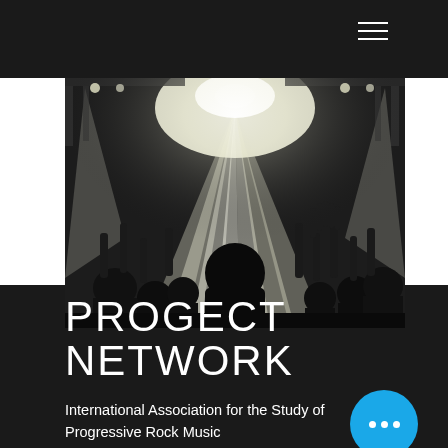≡ (hamburger menu icon)
[Figure (photo): Black and white concert crowd photo with hands raised in the air, bright stage lights shining from above, silhouettes of audience members in foreground]
PROGECT NETWORK
International Association for the Study of Progressive Rock Music